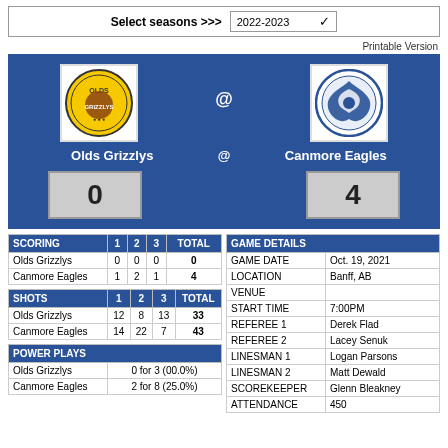Select seasons >>> 2022-2023
Printable Version
Olds Grizzlys @ Canmore Eagles
Score: Olds Grizzlys 0 - Canmore Eagles 4
| SCORING | 1 | 2 | 3 | TOTAL |
| --- | --- | --- | --- | --- |
| Olds Grizzlys | 0 | 0 | 0 | 0 |
| Canmore Eagles | 1 | 2 | 1 | 4 |
| SHOTS | 1 | 2 | 3 | TOTAL |
| --- | --- | --- | --- | --- |
| Olds Grizzlys | 12 | 8 | 13 | 33 |
| Canmore Eagles | 14 | 22 | 7 | 43 |
| POWER PLAYS |  |
| --- | --- |
| Olds Grizzlys | 0 for 3 (00.0%) |
| Canmore Eagles | 2 for 8 (25.0%) |
| GAME DETAILS |  |
| --- | --- |
| GAME DATE | Oct. 19, 2021 |
| LOCATION | Banff, AB |
| VENUE |  |
| START TIME | 7:00PM |
| REFEREE 1 | Derek Flad |
| REFEREE 2 | Lacey Senuk |
| LINESMAN 1 | Logan Parsons |
| LINESMAN 2 | Matt Dewald |
| SCOREKEEPER | Glenn Bleakney |
| ATTENDANCE | 450 |